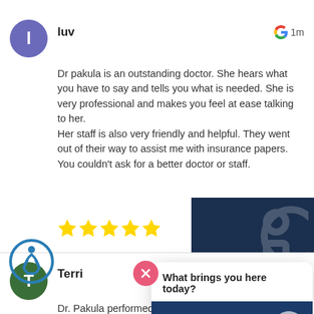luv
1m
Dr pakula is an outstanding doctor. She hears what you have to say and tells you what is needed. She is very professional and makes you feel at ease talking to her.
Her staff is also very friendly and helpful. They went out of their way to assist me with insurance papers.
You couldn't ask for a better doctor or staff.
Terri
2m
Dr. Pakula performed surgery on me it went perfect. She's very... her staff is also co... recommend her to... surgeon
What brings you here today?
CHAT LIVE NOW
ntains a